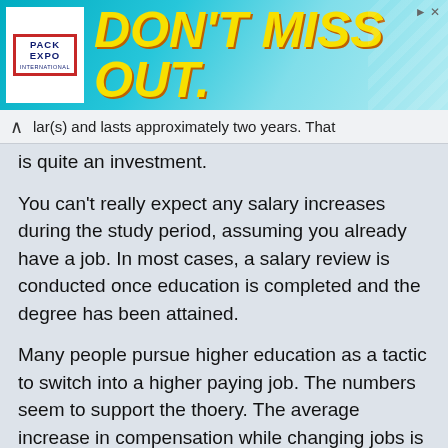[Figure (other): Pack Expo International advertisement banner with cyan gradient background and yellow bold italic text reading DON'T MISS OUT.]
lar(s) and lasts approximately two years. That is quite an investment.
You can't really expect any salary increases during the study period, assuming you already have a job. In most cases, a salary review is conducted once education is completed and the degree has been attained.
Many people pursue higher education as a tactic to switch into a higher paying job. The numbers seem to support the thoery. The average increase in compensation while changing jobs is approximately 10% more than the customary salary increment.